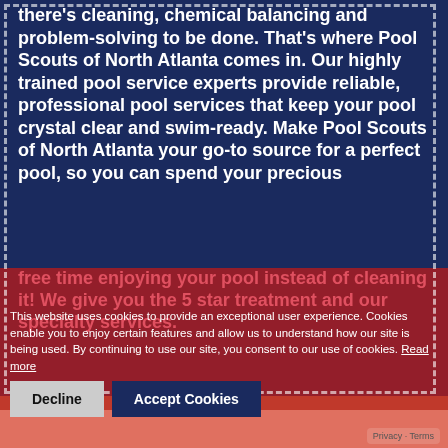there's cleaning, chemical balancing and problem-solving to be done. That's where Pool Scouts of North Atlanta comes in. Our highly trained pool service experts provide reliable, professional pool services that keep your pool crystal clear and swim-ready. Make Pool Scouts of North Atlanta your go-to source for a perfect pool, so you can spend your precious
free time enjoying your pool instead of cleaning it! We give you the 5 star treatment and our specialty services.
This website uses cookies to provide an exceptional user experience. Cookies enable you to enjoy certain features and allow us to understand how our site is being used. By continuing to use our site, you consent to our use of cookies. Read more